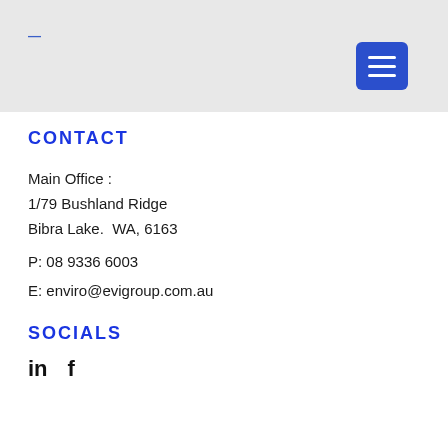—
[Figure (other): Blue hamburger menu button (three white horizontal lines on blue rounded rectangle background)]
CONTACT
Main Office :
1/79 Bushland Ridge
Bibra Lake.  WA, 6163
P: 08 9336 6003
E: enviro@evigroup.com.au
SOCIALS
[Figure (other): LinkedIn (in) and Facebook (f) social media icons in black]